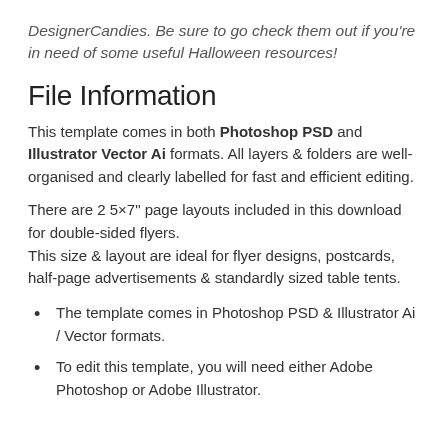DesignerCandies. Be sure to go check them out if you're in need of some useful Halloween resources!
File Information
This template comes in both Photoshop PSD and Illustrator Vector Ai formats. All layers & folders are well-organised and clearly labelled for fast and efficient editing.
There are 2 5×7" page layouts included in this download for double-sided flyers.
This size & layout are ideal for flyer designs, postcards, half-page advertisements & standardly sized table tents.
The template comes in Photoshop PSD & Illustrator Ai / Vector formats.
To edit this template, you will need either Adobe Photoshop or Adobe Illustrator.